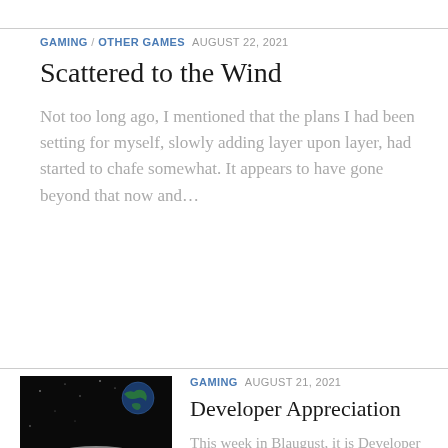GAMING / OTHER GAMES  AUGUST 22, 2021
Scattered to the Wind
Not too long ago, I mentioned that the plans I had been setting for myself, slowly adding layer upon layer, had started to chafe somewhat. It appears to have gone beyond that now and…
[Figure (photo): Thumbnail photo showing an astronaut on the lunar surface with Earth visible in the black sky background.]
GAMING  AUGUST 21, 2021
Developer Appreciation
This week in Blaugust, it is Developer Appreciation Week. While I'm pretty content to wander off the themes, doing…